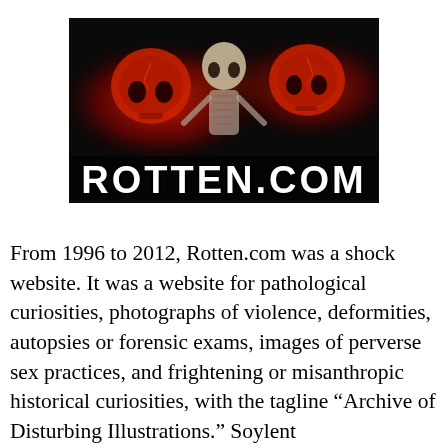[Figure (illustration): Rotten.com banner/logo image showing three glowing red skulls on a dark background with a skeletal figure in the center, and the text 'ROTTEN.COM' in large stylized horror font at the bottom]
From 1996 to 2012, Rotten.com was a shock website. It was a website for pathological curiosities, photographs of violence, deformities, autopsies or forensic exams, images of perverse sex practices, and frightening or misanthropic historical curiosities, with the tagline “Archive of Disturbing Illustrations.” Soylent Communications, a